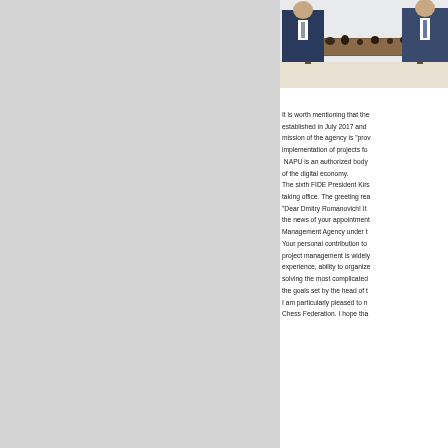[Figure (photo): Two men standing beside an ornate chess table with chess pieces, in an office or formal room setting.]
It is worth mentioning that the established in July 2017 and mission of the agency is "prov implementation of projects fo NAPU is an authorized body of the digital economy. The sixth FIDE President Kirs taking office. The greeting rea "Dear Dmitry Romanovich! It the news of your appointment Management Agency under t Your personal contribution to project management is widely experience, ability to organize solving the most complicated the goals set by the head of t I am particularly pleased to n Chess Federation. I hope tha